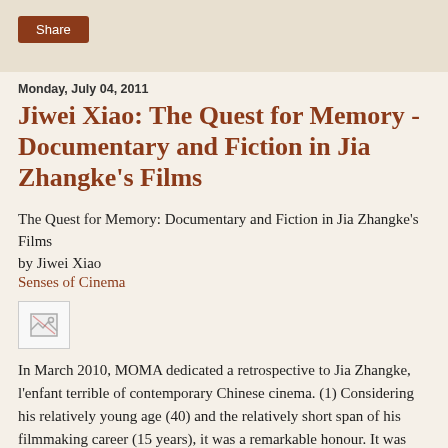Share
Monday, July 04, 2011
Jiwei Xiao: The Quest for Memory - Documentary and Fiction in Jia Zhangke’s Films
The Quest for Memory: Documentary and Fiction in Jia Zhangke’s Films
by Jiwei Xiao
Senses of Cinema
[Figure (other): Broken image placeholder icon]
In March 2010, MOMA dedicated a retrospective to Jia Zhangke, l’enfant terrible of contemporary Chinese cinema. (1) Considering his relatively young age (40) and the relatively short span of his filmmaking career (15 years), it was a remarkable honour. It was also timely. The event seemed to echo a spirit emanating from Jia’s